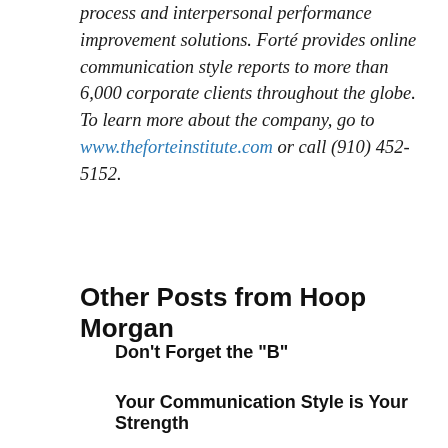process and interpersonal performance improvement solutions. Forté provides online communication style reports to more than 6,000 corporate clients throughout the globe. To learn more about the company, go to www.theforteinstitute.com or call (910) 452-5152.
Other Posts from Hoop Morgan
Don't Forget the "B"
Your Communication Style is Your Strength